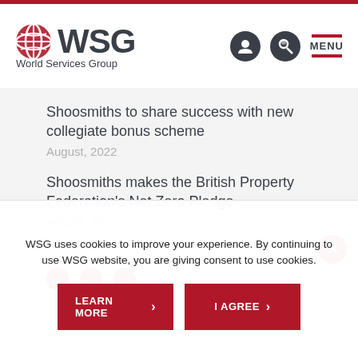[Figure (logo): WSG World Services Group logo with globe icon]
Shoosmiths to share success with new collegiate bonus scheme
August, 2022
Shoosmiths makes the British Property Federation's Net Zero Pledge
August, 2022
WSG uses cookies to improve your experience. By continuing to use WSG website, you are giving consent to use cookies.
LEARN MORE
I AGREE